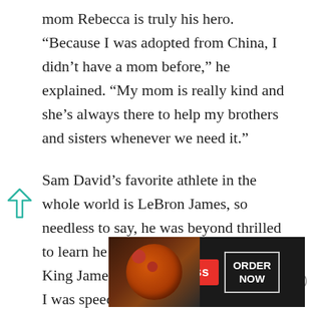mom Rebecca is truly his hero. “Because I was adopted from China, I didn’t have a mom before,” he explained. “My mom is really kind and she’s always there to help my brothers and sisters whenever we need it.”
Sam David’s favorite athlete in the whole world is LeBron James, so needless to say, he was beyond thrilled to learn he would be designing one of King James’ signature shoes. “Actually, I was speechless!” he smiled.
[Figure (other): Seamless food ordering advertisement banner with pizza image on the left, red Seamless logo in the center, and ORDER NOW button on the right, on a dark background.]